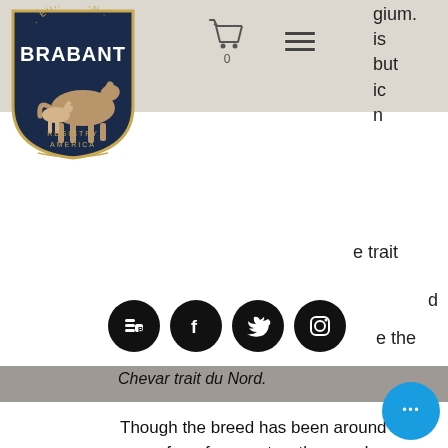European Brabant Registry of America
[Figure (logo): European Brabant Registry of America shield logo with horse illustration, dark navy blue background]
gium. is but ic n
e trait
d
e the
[Figure (infographic): Row of four social media icons: Blogger (B), Facebook (f), Twitter (bird), Instagram (camera) — all black circles on white background]
Chevar trait du Nord.
Though the breed has been around in some form for over two thousand years, the breed studbooks are relatively new. The Belgian Department of Horses was established at the Liège Société Eleveurs Belges in 1879, and a studbook in East Flanders was